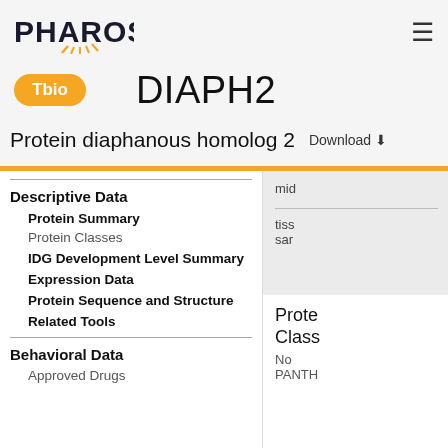PHAROS
DIAPH2
Tbio
Protein diaphanous homolog 2  Download
Descriptive Data
Protein Summary
Protein Classes
IDG Development Level Summary
Expression Data
Protein Sequence and Structure
Related Tools
Behavioral Data
Approved Drugs
mid
tissue sample
Prote
Class
No PANTH